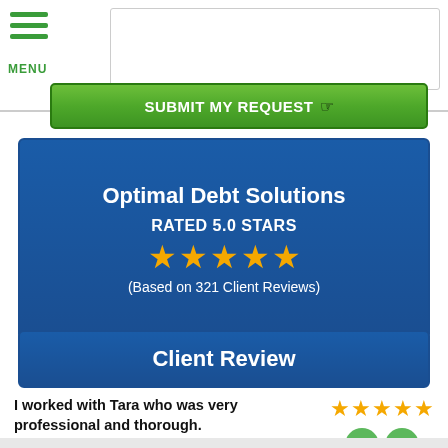[Figure (screenshot): Mobile website top navigation with hamburger menu icon and MENU label, white input box area, and green SUBMIT MY REQUEST button]
[Figure (infographic): Blue banner showing Optimal Debt Solutions company name, RATED 5.0 STARS text, five gold stars, and (Based on 321 Client Reviews) text]
Client Review
I worked with Tara who was very professional and thorough.
[Figure (infographic): Five gold stars rating and two green circle icons (phone and email)]